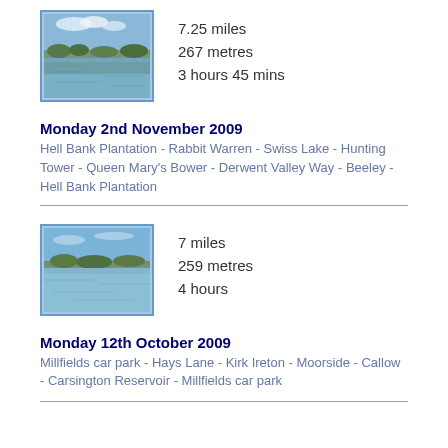[Figure (photo): Lake or reservoir scene with water reflections and trees, blue sky with clouds]
7.25 miles
267 metres
3 hours 45 mins
Monday 2nd November 2009
Hell Bank Plantation - Rabbit Warren - Swiss Lake - Hunting Tower - Queen Mary's Bower - Derwent Valley Way - Beeley - Hell Bank Plantation
[Figure (photo): Reservoir or lake scene with open water and distant tree line under blue sky]
7 miles
259 metres
4 hours
Monday 12th October 2009
Millfields car park - Hays Lane - Kirk Ireton - Moorside - Callow - Carsington Reservoir - Millfields car park